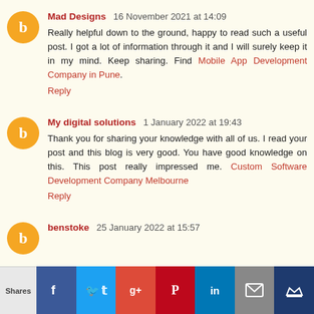Mad Designs 16 November 2021 at 14:09
Really helpful down to the ground, happy to read such a useful post. I got a lot of information through it and I will surely keep it in my mind. Keep sharing. Find Mobile App Development Company in Pune.
Reply
My digital solutions 1 January 2022 at 19:43
Thank you for sharing your knowledge with all of us. I read your post and this blog is very good. You have good knowledge on this. This post really impressed me. Custom Software Development Company Melbourne
Reply
benstoke 25 January 2022 at 15:57
[Figure (infographic): Social share bar with buttons for Facebook, Twitter, Google+, Pinterest, LinkedIn, Email, and a crown/bookmark icon, with a Shares label on the left]